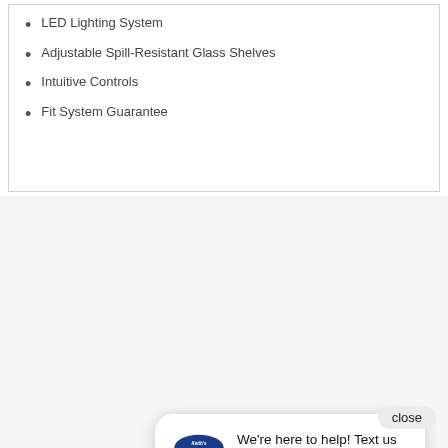LED Lighting System
Adjustable Spill-Resistant Glass Shelves
Intuitive Controls
Fit System Guarantee
close
CUSTOM
We're here to help! Text us to get started.
[Figure (screenshot): Screenshot of a retail appliance website showing a chat popup from Keith's Appliances saying 'We're here to help! Text us to get started.' with a close button, a pink chat icon, a black electric range stove, and a white refrigerator shelf accessory.]